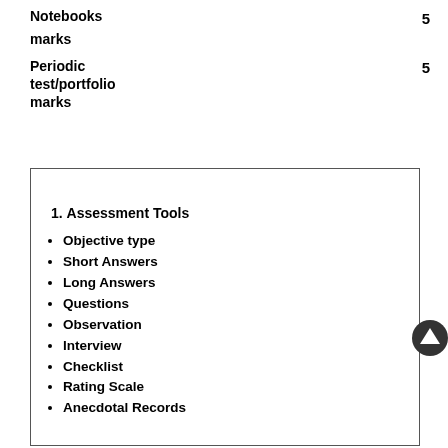Notebooks
5
marks
Periodic test/portfolio marks
5
1. Assessment Tools
Objective type
Short Answers
Long Answers
Questions
Observation
Interview
Checklist
Rating Scale
Anecdotal Records